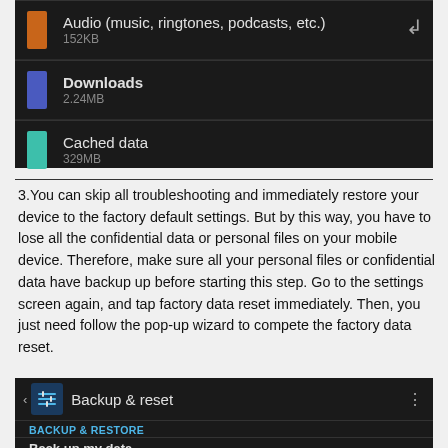[Figure (screenshot): Android storage settings screen showing Audio (music, ringtones, podcasts, etc.) 152KB with orange icon, Downloads 2.24MB with blue icon, and Cached data 329MB with teal icon on dark background]
3.You can skip all troubleshooting and immediately restore your device to the factory default settings. But by this way, you have to lose all the confidential data or personal files on your mobile device. Therefore, make sure all your personal files or confidential data have backup up before starting this step. Go to the settings screen again, and tap factory data reset immediately. Then, you just need follow the pop-up wizard to compete the factory data reset.
[Figure (screenshot): Android Backup & reset settings screen showing BACKUP & RESTORE section with Back up my data option (Back up app data, Wi-Fi passwords, and other settings to Google servers) with blue checkmark]